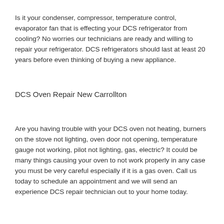Is it your condenser, compressor, temperature control, evaporator fan that is effecting your DCS refrigerator from cooling? No worries our technicians are ready and willing to repair your refrigerator. DCS refrigerators should last at least 20 years before even thinking of buying a new appliance.
DCS Oven Repair New Carrollton
Are you having trouble with your DCS oven not heating, burners on the stove not lighting, oven door not opening, temperature gauge not working, pilot not lighting, gas, electric? It could be many things causing your oven to not work properly in any case you must be very careful especially if it is a gas oven. Call us today to schedule an appointment and we will send an experience DCS repair technician out to your home today.